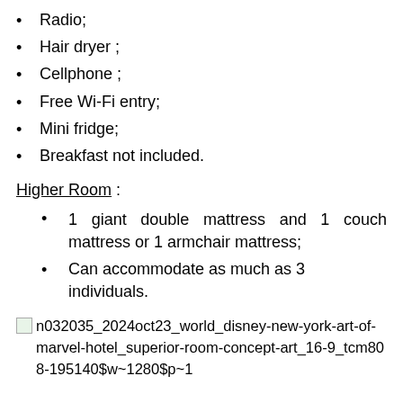Radio;
Hair dryer ;
Cellphone ;
Free Wi-Fi entry;
Mini fridge;
Breakfast not included.
Higher Room :
1 giant double mattress and 1 couch mattress or 1 armchair mattress;
Can accommodate as much as 3 individuals.
n032035_2024oct23_world_disney-new-york-art-of-marvel-hotel_superior-room-concept-art_16-9_tcm808-195140$w~1280$p~1